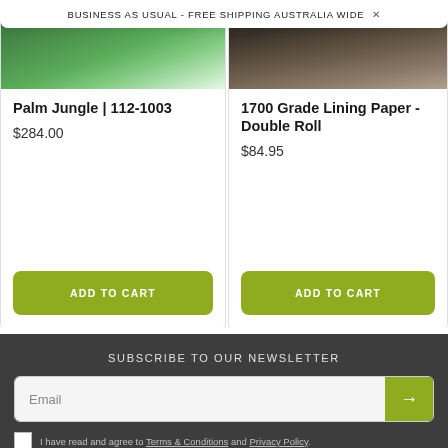BUSINESS AS USUAL - FREE SHIPPING AUSTRALIA WIDE
Palm Jungle | 112-1003
$284.00
ADD TO CART
1700 Grade Lining Paper - Double Roll
$84.95
ADD TO CART
SUBSCRIBE TO OUR NEWSLETTER
Email
I have read and agree to Terms & Conditions and Privacy Policy.